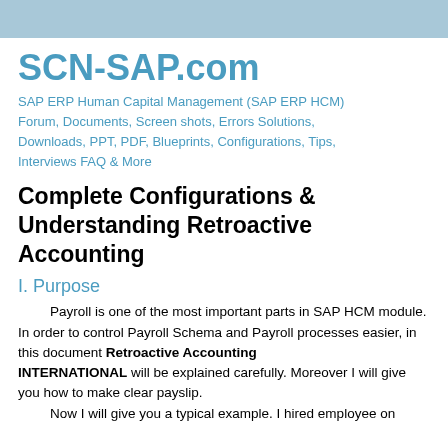SCN-SAP.com
SAP ERP Human Capital Management (SAP ERP HCM) Forum, Documents, Screen shots, Errors Solutions, Downloads, PPT, PDF, Blueprints, Configurations, Tips, Interviews FAQ & More
Complete Configurations & Understanding Retroactive Accounting
I. Purpose
Payroll is one of the most important parts in SAP HCM module. In order to control Payroll Schema and Payroll processes easier, in this document Retroactive Accounting INTERNATIONAL will be explained carefully. Moreover I will give you how to make clear payslip.
    Now I will give you a typical example. I hired employee on